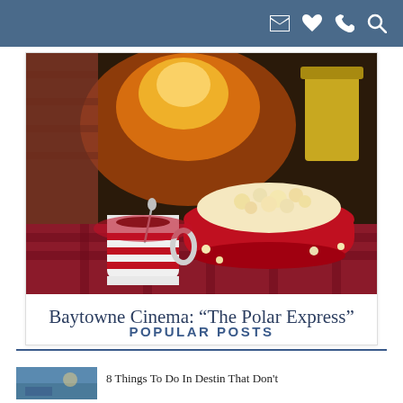Navigation header with icons: email, heart, phone, search
[Figure (photo): A cozy winter scene with a red bowl of popcorn and a coffee mug with a knitted cozy, in front of a fireplace, on a plaid blanket]
Baytowne Cinema: “The Polar Express”
POPULAR POSTS
[Figure (photo): Small thumbnail image of an outdoor scene, likely Destin Florida]
8 Things To Do In Destin That Don’t